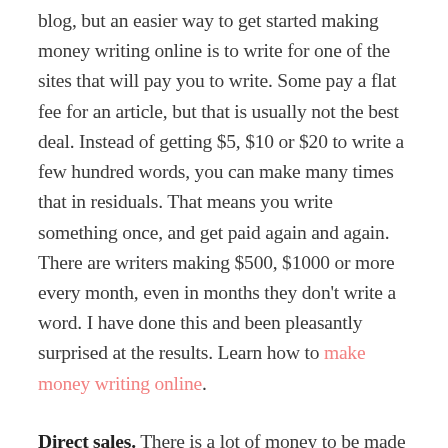blog, but an easier way to get started making money writing online is to write for one of the sites that will pay you to write. Some pay a flat fee for an article, but that is usually not the best deal. Instead of getting $5, $10 or $20 to write a few hundred words, you can make many times that in residuals. That means you write something once, and get paid again and again. There are writers making $500, $1000 or more every month, even in months they don't write a word. I have done this and been pleasantly surprised at the results. Learn how to make money writing online.
Direct sales. There is a lot of money to be made in sales, and many people find working with a direct sales plan easy, even if they do not consider themselves to be sales persons. Direct sales